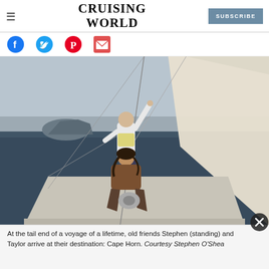CRUISING WORLD | SUBSCRIBE
[Figure (other): Social media share icons: Facebook, Twitter, Pinterest, Email]
[Figure (photo): Two sailors on the deck of a sailboat near Cape Horn. One person (Stephen) is standing with arm raised in celebration, wearing a white jacket. The other (Taylor) is crouching near a winch, wearing a brown jacket. A large white sail is visible on the right. A rocky island (Cape Horn) is visible in the background over calm dark ocean water.]
At the tail end of a voyage of a lifetime, old friends Stephen (standing) and Taylor arrive at their destination: Cape Horn. Courtesy Stephen O'Shea